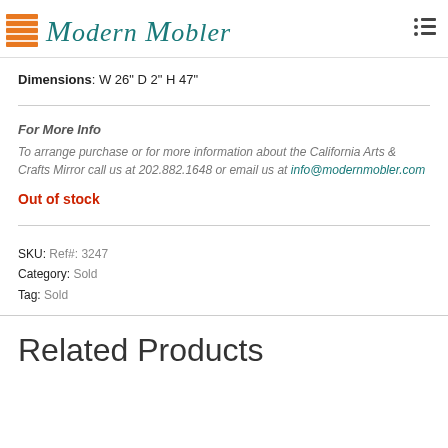Modern Mobler
Dimensions: W 26" D 2" H 47"
For More Info
To arrange purchase or for more information about the California Arts & Crafts Mirror call us at 202.882.1648 or email us at info@modernmobler.com
Out of stock
SKU: Ref#: 3247
Category: Sold
Tag: Sold
Related Products